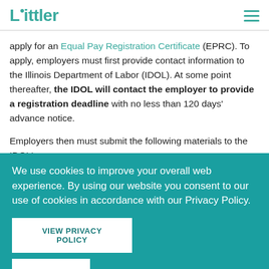Littler
apply for an Equal Pay Registration Certificate (EPRC). To apply, employers must first provide contact information to the Illinois Department of Labor (IDOL). At some point thereafter, the IDOL will contact the employer to provide a registration deadline with no less than 120 days' advance notice.

Employers then must submit the following materials to the IDOL's
We use cookies to improve your overall web experience. By using our website you consent to our use of cookies in accordance with our Privacy Policy.
VIEW PRIVACY POLICY
I AGREE